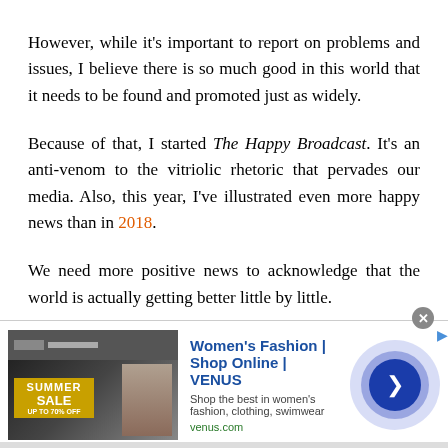However, while it's important to report on problems and issues, I believe there is so much good in this world that it needs to be found and promoted just as widely.
Because of that, I started The Happy Broadcast. It's an anti-venom to the vitriolic rhetoric that pervades our media. Also, this year, I've illustrated even more happy news than in 2018.
We need more positive news to acknowledge that the world is actually getting better little by little.
[Figure (other): Advertisement banner for Women's Fashion | Shop Online | VENUS. Shows a fashion retail website screenshot on left, text 'Women's Fashion | Shop Online | VENUS' in blue, subtitle 'Shop the best in women's fashion, clothing, swimwear', URL 'venus.com' in green, and a blue circular play/arrow button on the right.]